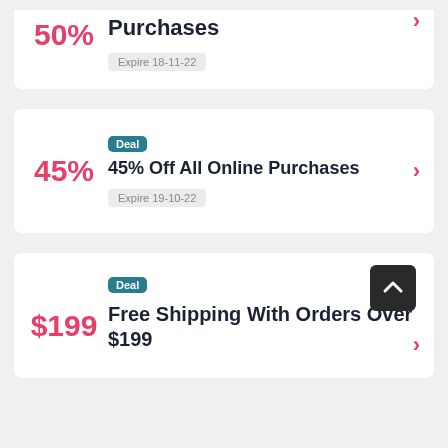50%
Purchases
Expire 18-11-22
Deal
45%
45% Off All Online Purchases
Expire 19-10-22
Deal
$199
Free Shipping With Orders Over $199